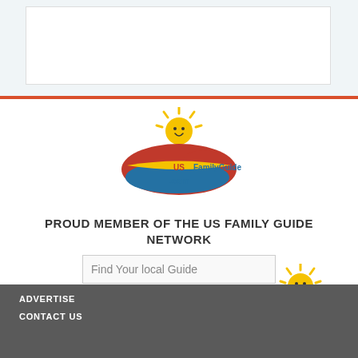[Figure (screenshot): Top white/light-blue box area with inner white rectangle]
[Figure (logo): USFamilyGuide.com logo with sun character, red USA map shape, and colorful text]
PROUD MEMBER OF THE US FAMILY GUIDE NETWORK
Find Your local Guide
[Figure (illustration): Cartoon sun mascot character with smiley face, rays, wearing blue clothes and red shoes, giving thumbs up]
ADVERTISE
CONTACT US